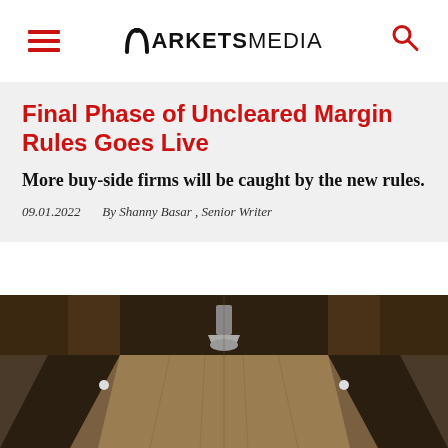MARKETS MEDIA
Final Phase of Uncleared Margin Rules Goes Live
More buy-side firms will be caught by the new rules.
09.01.2022   By Shanny Basar , Senior Writer
[Figure (photo): Interior architectural photograph showing a long hallway or corridor with symmetrical dark railings and a decorative lamp or fixture in the center foreground, taken from a low angle looking upward.]